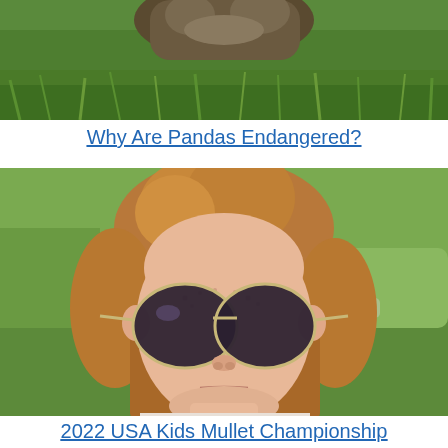[Figure (photo): Partial photo of an animal (possibly a panda or similar) on green grass, cropped at top of page]
Why Are Pandas Endangered?
[Figure (photo): Close-up photo of a young child with a mullet hairstyle wearing large aviator sunglasses, outdoors with green background]
2022 USA Kids Mullet Championship